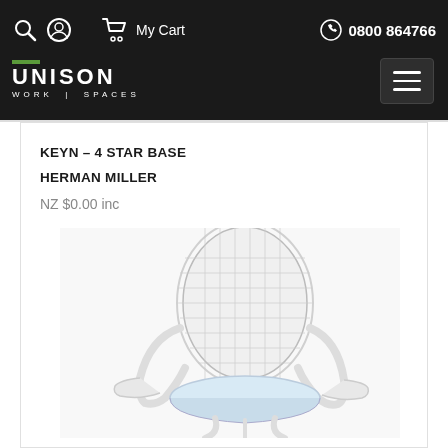My Cart  0800 864766
[Figure (logo): Unison Work | Spaces logo in white on dark background]
KEYN – 4 STAR BASE
HERMAN MILLER
NZ $0.00 inc
[Figure (photo): Herman Miller Keyn 4 Star Base chair in white, showing mesh back and armrests, photographed from a side-front angle against a white background]